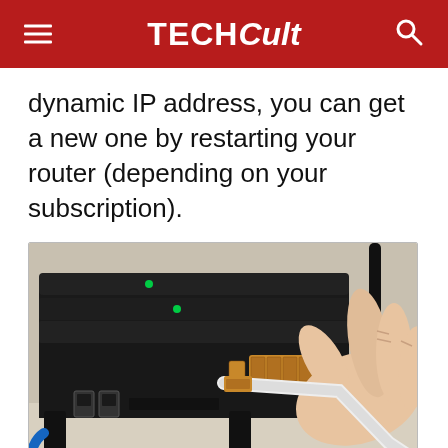TECHCult
dynamic IP address, you can get a new one by restarting your router (depending on your subscription).
[Figure (photo): Close-up photo of a person's hand plugging an Ethernet cable into the back of a black wireless router, showing the router's ports including LAN ports (gold-colored), USB ports, and antennas.]